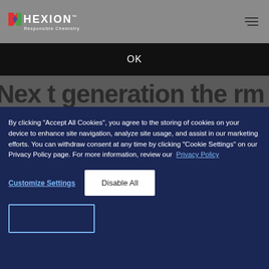[Figure (logo): Hexion logo with X icon and 'Responsible Chemistry' tagline]
OK
By clicking "Accept All Cookies", you agree to the storing of cookies on your device to enhance site navigation, analyze site usage, and assist in our marketing efforts. You can withdraw consent at any time by clicking "Cookie Settings" on our Privacy Policy page. For more information, review our Privacy Policy
Customize Settings
Disable All